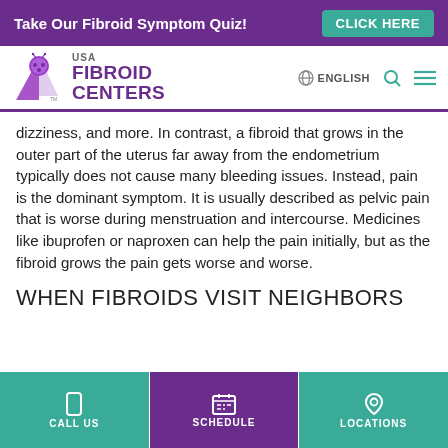Take Our Fibroid Symptom Quiz! CLICK HERE
[Figure (logo): USA Fibroid Centers logo with purple checkmark and ladybug icon, with ENGLISH language selector, search icon, and menu icon]
dizziness, and more. In contrast, a fibroid that grows in the outer part of the uterus far away from the endometrium typically does not cause many bleeding issues. Instead, pain is the dominant symptom. It is usually described as pelvic pain that is worse during menstruation and intercourse. Medicines like ibuprofen or naproxen can help the pain initially, but as the fibroid grows the pain gets worse and worse.
WHEN FIBROIDS VISIT NEIGHBORS
CALL US | SCHEDULE | LOCATIONS